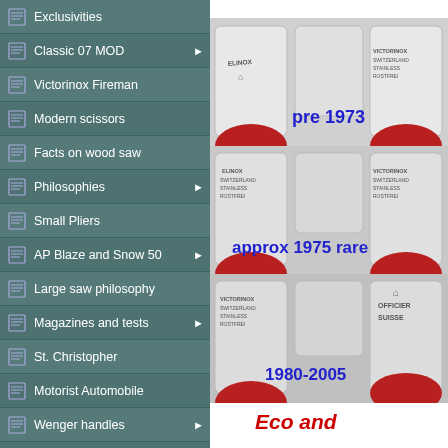Exclusivities
Classic 07 MOD
Victorinox Fireman
Modern scissors
Facts on wood saw
Philosophies
Small Pliers
AP Blaze and Snow 50
Large saw philosophy
Magazines and tests
St. Christopher
Motorist Automobile
Wenger handles
Wenger serrations
1.13.23
[Figure (photo): Three close-up photos of Swiss Army knife blade tangs showing different markings: top shows ELINOX and VICTORINOX SWITZERLAND STAINLESS ROSTFREI labels labeled 'pre 1973'; middle shows ELINOX SWITZERLAND STAINLESS ROSTFREI and VICTORINOX SWITZERLAND STAINLESS ROSTFREI labels labeled 'approx 1975 rare'; bottom shows VICTORINOX SWITZERLAND STAINLESS ROSTFREI and OFFICIER SUISSE labels labeled '1980-2005']
Eco and